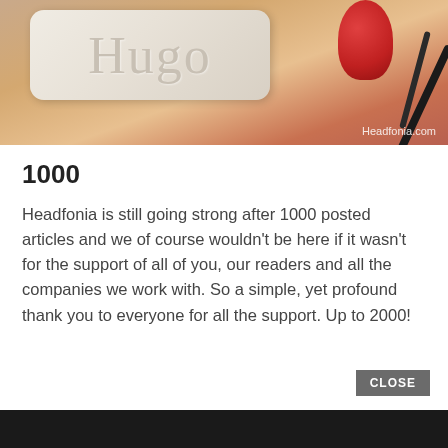[Figure (photo): Photo of a tablet or device showing the word 'Hugo' in serif font, with a red microphone and cable visible. Watermark reads 'Headfonia.com' in the lower right corner.]
1000
Headfonia is still going strong after 1000 posted articles and we of course wouldn't be here if it wasn't for the support of all of you, our readers and all the companies we work with. So a simple, yet profound thank you to everyone for all the support. Up to 2000!